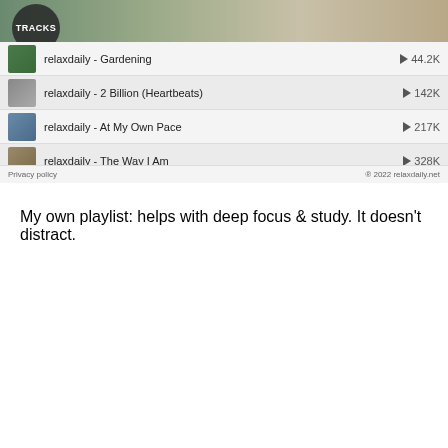[Figure (screenshot): SoundCloud tracks listing showing: relaxdaily - Gardening (44.2K plays), relaxdaily - 2 Billion (Heartbeats) (142K plays), relaxdaily - At My Own Pace (217K plays), relaxdaily - The Way I Am (328K plays), with TRACKS header, Privacy policy footer and © 2022 relaxdaily.net]
My own playlist: helps with deep focus & study. It doesn't distract.
[Figure (screenshot): SoundCloud embed player showing The Engineer Podcast - Deep Focus for work & study, with orange play button, SOUNDCLOUD logo, and Share button]